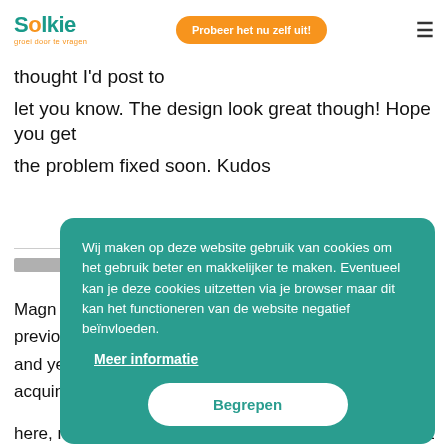Solkie — groei door te vragen | Probeer het nu zelf uit!
thought I'd post to let you know. The design look great though! Hope you get the problem fixed soon. Kudos
[Figure (other): Cookie consent overlay on teal background with Dutch text: 'Wij maken op deze website gebruik van cookies om het gebruik beter en makkelijker te maken. Eventueel kan je deze cookies uitzetten via je browser maar dit kan het functioneren van de website negatief beïnvloeden.' Link: Meer informatie. Button: Begrepen]
Magn previous and ye acquin
here, really like what you are saying and the way in which